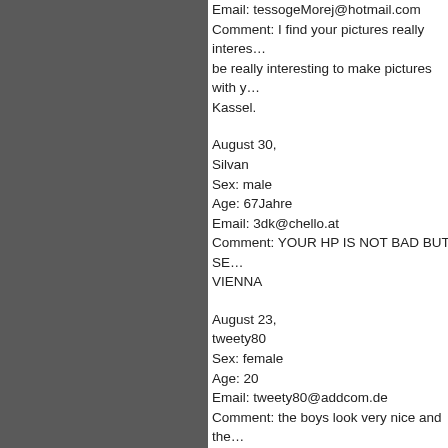Email: tessogeMorej@hotmail.com
Comment: I find your pictures really interes… be really interesting to make pictures with y… Kassel.
August 30,
Silvan
Sex: male
Age: 67Jahre
Email: 3dk@chello.at
Comment: YOUR HP IS NOT BAD BUT SE… VIENNA
August 23,
tweety80
Sex: female
Age: 20
Email: tweety80@addcom.de
Comment: the boys look very nice and the…
August 11,
ezequi
Sex: male
Age: 28
Email: chapelco1@hotmail.com